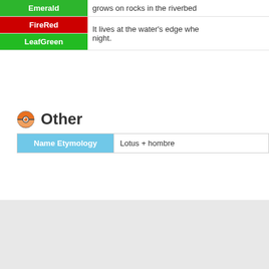| Game | Description |
| --- | --- |
| Emerald | grows on rocks in the riverbed |
| FireRed | It lives at the water's edge whe |
| LeafGreen | night. |
Other
| Name Etymology |  |
| --- | --- |
| Name Etymology | Lotus + hombre |
← #270 Lotad